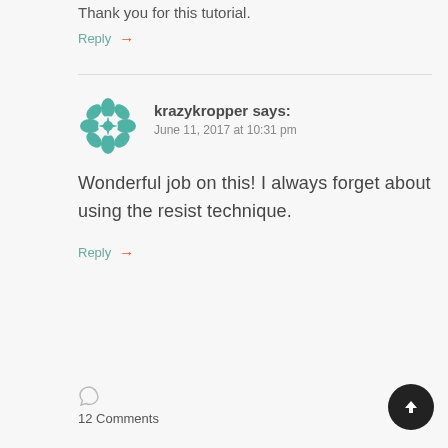Thank you for this tutorial.
Reply →
krazykropper says:
June 11, 2017 at 10:31 pm
Wonderful job on this! I always forget about using the resist technique.
Reply →
[Figure (illustration): Teal geometric snowflake/mandala avatar icon for user krazykropper]
12 Comments